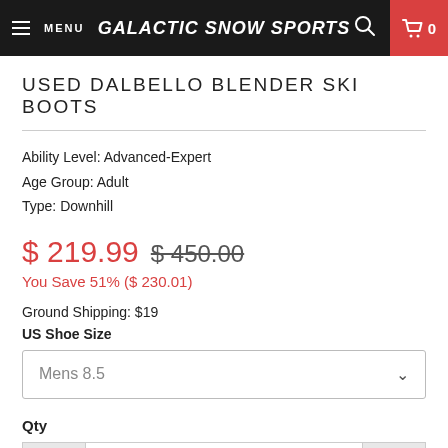MENU | GALACTIC SNOW SPORTS | 0
USED DALBELLO BLENDER SKI BOOTS
Ability Level: Advanced-Expert
Age Group: Adult
Type: Downhill
$ 219.99  $ 450.00
You Save 51% ($ 230.01)
Ground Shipping: $19
US Shoe Size
Mens 8.5
Qty
1